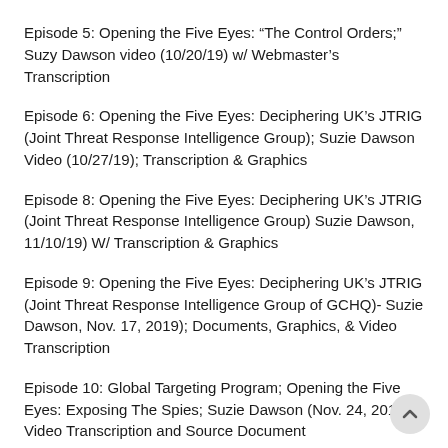Episode 5: Opening the Five Eyes: “The Control Orders;” Suzy Dawson video (10/20/19) w/ Webmaster’s Transcription
Episode 6: Opening the Five Eyes: Deciphering UK’s JTRIG (Joint Threat Response Intelligence Group); Suzie Dawson Video (10/27/19); Transcription & Graphics
Episode 8: Opening the Five Eyes: Deciphering UK’s JTRIG (Joint Threat Response Intelligence Group) Suzie Dawson, 11/10/19) W/ Transcription & Graphics
Episode 9: Opening the Five Eyes: Deciphering UK’s JTRIG (Joint Threat Response Intelligence Group of GCHQ)- Suzie Dawson, Nov. 17, 2019); Documents, Graphics, & Video Transcription
Episode 10: Global Targeting Program; Opening the Five Eyes: Exposing The Spies; Suzie Dawson (Nov. 24, 2019); Video Transcription and Source Document
Controlled Demolition of the United States and Western World